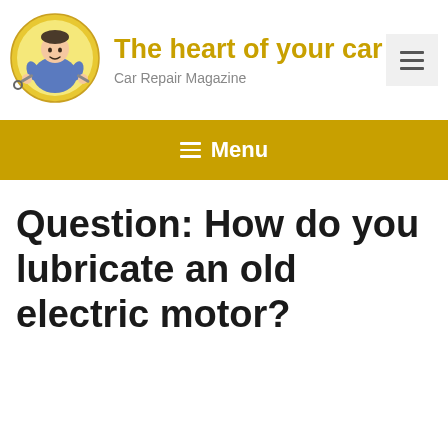The heart of your car — Car Repair Magazine
[Figure (logo): Cartoon mechanic character with tools, sitting in a circular yellow badge logo]
≡ Menu
Question: How do you lubricate an old electric motor?